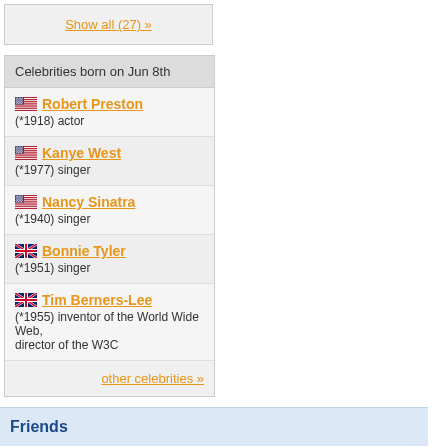Show all (27) »
Celebrities born on Jun 8th
Robert Preston (*1918) actor
Kanye West (*1977) singer
Nancy Sinatra (*1940) singer
Bonnie Tyler (*1951) singer
Tim Berners-Lee (*1955) inventor of the World Wide Web, director of the W3C
other celebrities »
Friends